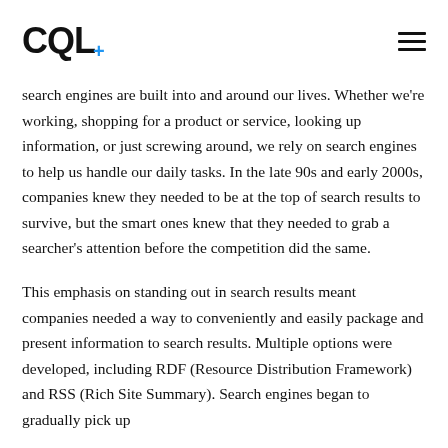CQL
search engines are built into and around our lives. Whether we're working, shopping for a product or service, looking up information, or just screwing around, we rely on search engines to help us handle our daily tasks. In the late 90s and early 2000s, companies knew they needed to be at the top of search results to survive, but the smart ones knew that they needed to grab a searcher's attention before the competition did the same.
This emphasis on standing out in search results meant companies needed a way to conveniently and easily package and present information to search results. Multiple options were developed, including RDF (Resource Distribution Framework) and RSS (Rich Site Summary). Search engines began to gradually pick up